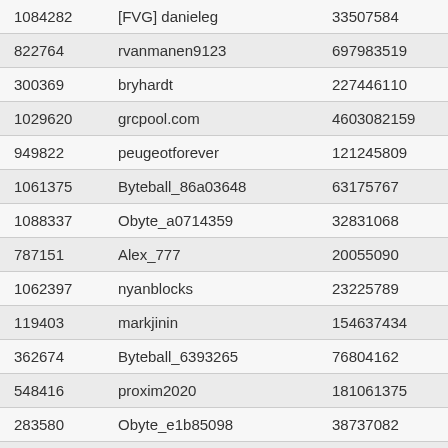| 1084282 | [FVG] danieleg | 33507584 | 5045 |
| 822764 | rvanmanen9123 | 697983519 | 4925 |
| 300369 | bryhardt | 227446110 | 4622 |
| 1029620 | grcpool.com | 4603082159 | 4593 |
| 949822 | peugeotforever | 121245809 | 4467 |
| 1061375 | Byteball_86a03648 | 63175767 | 4388 |
| 1088337 | Obyte_a0714359 | 32831068 | 4340 |
| 787151 | Alex_777 | 20055090 | 4275 |
| 1062397 | nyanblocks | 23225789 | 4240 |
| 119403 | markjinin | 154637434 | 4070 |
| 362674 | Byteball_6393265 | 76804162 | 4028 |
| 548416 | proxim2020 | 181061375 | 3827 |
| 283580 | Obyte_e1b85098 | 38737082 | 3733 |
| 349659 | hareya1@sukhoi@siberia | 89880576 | 3424 |
| 972961 | fuzzydice555 | 267346379 | 3399 |
| 1131401 | Obyte_ebbc5003 | 52570153 | 3138 |